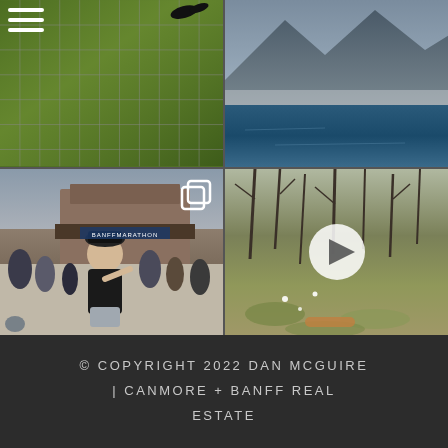[Figure (photo): Four-panel Instagram-style grid. Top-left: close-up of green grass through a wire/net fence with a hamburger-menu icon overlay. Top-right: aerial or elevated view of a deep blue mountain lake with misty grey mountains in background. Bottom-left: outdoor crowd scene at a Banff Marathon event, man in black t-shirt and grey shorts smiling at camera holding food and drink, with a stacked-squares icon overlay. Bottom-right: sparse dry shrubs and grass with a white video play button overlay.]
© COPYRIGHT 2022 DAN MCGUIRE | CANMORE + BANFF REAL ESTATE